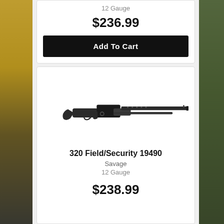12 Gauge
$236.99
Add To Cart
[Figure (photo): Black pump-action shotgun (Savage 320 Field/Security 19490) shown in profile view against white background]
320 Field/Security 19490
Savage
12 Gauge
$238.99